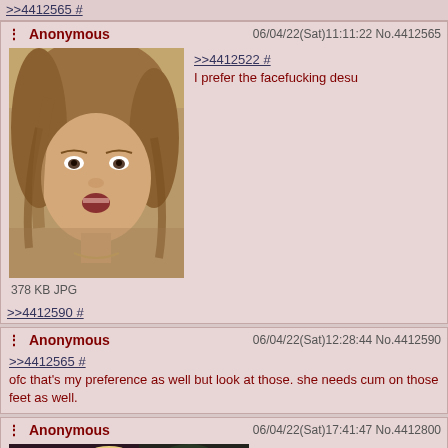>>4412565 #
Anonymous  06/04/22(Sat)11:11:22 No.4412565
[Figure (photo): Photo of a woman with blonde hair looking distressed or surprised]
378 KB JPG
>>4412522 #
I prefer the facefucking desu
>>4412590 #
Anonymous  06/04/22(Sat)12:28:44 No.4412590
>>4412565 #
ofc that's my preference as well but look at those. she needs cum on those feet as well.
Anonymous  06/04/22(Sat)17:41:47 No.4412800
[Figure (photo): Photo of a woman with blonde hair in a dark setting]